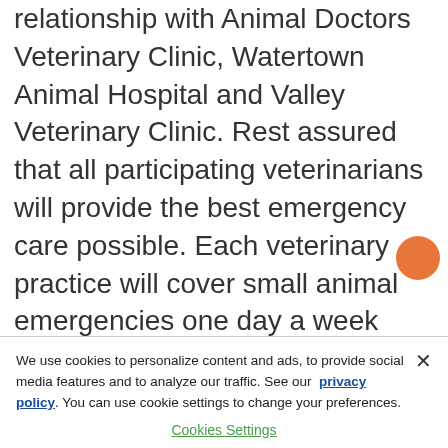relationship with Animal Doctors Veterinary Clinic, Watertown Animal Hospital and Valley Veterinary Clinic. Rest assured that all participating veterinarians will provide the best emergency care possible. Each veterinary practice will cover small animal emergencies one day a week with each practice covering one weekend a month.
We use cookies to personalize content and ads, to provide social media features and to analyze our traffic. See our privacy policy. You can use cookie settings to change your preferences.
Cookies Settings